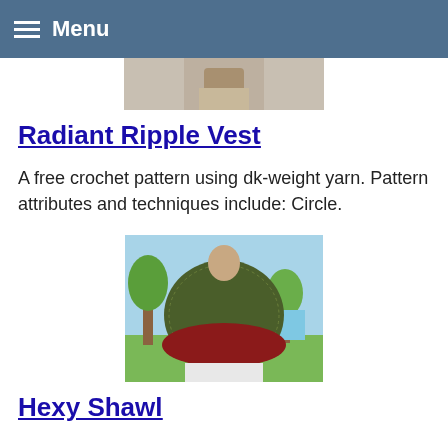Menu
[Figure (photo): Partial photo of a person wearing light-colored pants, cropped at the top]
Radiant Ripple Vest
A free crochet pattern using dk-weight yarn. Pattern attributes and techniques include: Circle.
[Figure (photo): Back view of a person wearing a dark olive green crochet shawl with red border trim, posed in front of a tropical painted backdrop]
Hexy Shawl